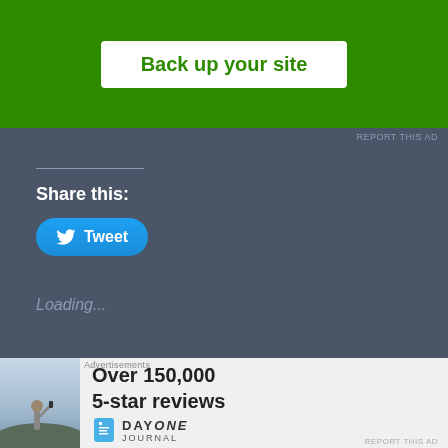[Figure (screenshot): Green advertisement banner with white button labeled 'Back up your site']
REPORT THIS AD
Share this:
[Figure (screenshot): Twitter Tweet button with bird icon]
Loading...
Related
Libertarians and
Searching for
[Figure (screenshot): Bottom advertisement for DayOne Journal: Over 150,000 5-star reviews, with photo of person on cliff]
REPORT THIS AD